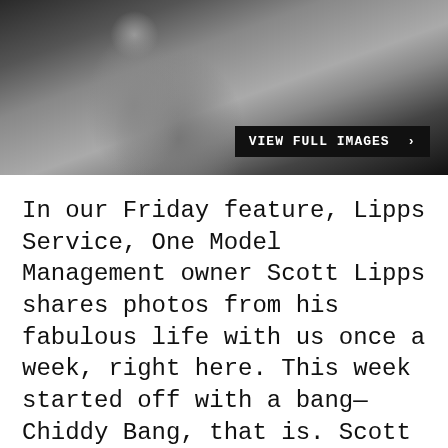[Figure (photo): Black and white photograph of a person in a blazer, with a dark overlay button reading 'VIEW FULL IMAGES' in the lower right corner.]
In our Friday feature, Lipps Service, One Model Management owner Scott Lipps shares photos from his fabulous life with us once a week, right here. This week started off with a bang—Chiddy Bang, that is. Scott grabbed a quick photo at the Dream Hotel to start the week off right, then was Hamptons-bound in a loaner from Bentley (for which he was...